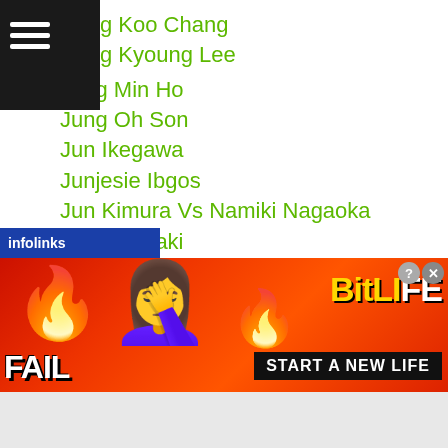☰
g Koo Chang
g Kyoung Lee
Jung Min Ho
Jung Oh Son
Jun Ikegawa
Junjesie Ibgos
Jun Kimura Vs Namiki Nagaoka
Junki Sasaki
Junki Shirasaki
Junpei Inamoto
Junpei Tsujimoto
Junrel Jimenez
Junto Nakatani
Jun Toriumi
Jun Yabuki
himada
[Figure (screenshot): infolinks advertisement banner and BitLife mobile game ad with FAIL text, emoji facepalm, flame, and START A NEW LIFE slogan]